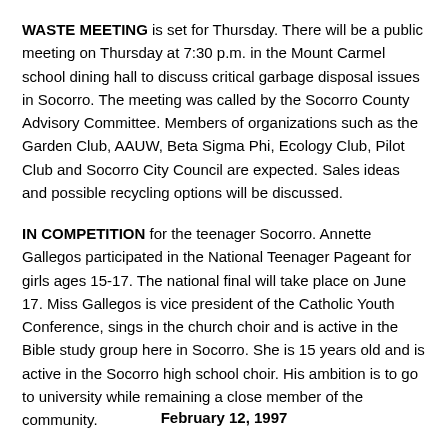WASTE MEETING is set for Thursday. There will be a public meeting on Thursday at 7:30 p.m. in the Mount Carmel school dining hall to discuss critical garbage disposal issues in Socorro. The meeting was called by the Socorro County Advisory Committee. Members of organizations such as the Garden Club, AAUW, Beta Sigma Phi, Ecology Club, Pilot Club and Socorro City Council are expected. Sales ideas and possible recycling options will be discussed.
IN COMPETITION for the teenager Socorro. Annette Gallegos participated in the National Teenager Pageant for girls ages 15-17. The national final will take place on June 17. Miss Gallegos is vice president of the Catholic Youth Conference, sings in the church choir and is active in the Bible study group here in Socorro. She is 15 years old and is active in the Socorro high school choir. His ambition is to go to university while remaining a close member of the community.
February 12, 1997